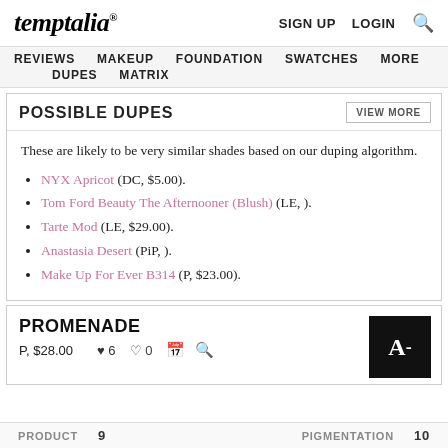temptalia® | SIGN UP  LOGIN  🔍
REVIEWS  MAKEUP  FOUNDATION  SWATCHES  MORE  DUPES  MATRIX
POSSIBLE DUPES  VIEW MORE
These are likely to be very similar shades based on our duping algorithm.
NYX Apricot (DC, $5.00).
Tom Ford Beauty The Afternooner (Blush) (LE, ).
Tarte Mod (LE, $29.00).
Anastasia Desert (PiP, ).
Make Up For Ever B314 (P, $23.00).
PROMENADE
P, $28.00  ♥ 6  ♥ 0
[Figure (other): Grade box showing A-]
PRODUCT  9  PIGMENTATION  10